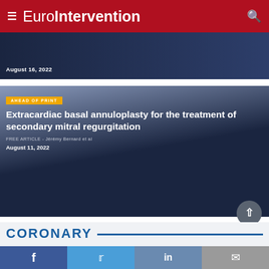EuroIntervention
August 16, 2022
[Figure (screenshot): Article card for a medical journal article with dark navy background, showing date August 16, 2022]
AHEAD OF PRINT
Extracardiac basal annuloplasty for the treatment of secondary mitral regurgitation
FREE ARTICLE - Jérémy Bernard et al
August 11, 2022
CORONARY
f  t  in  mail